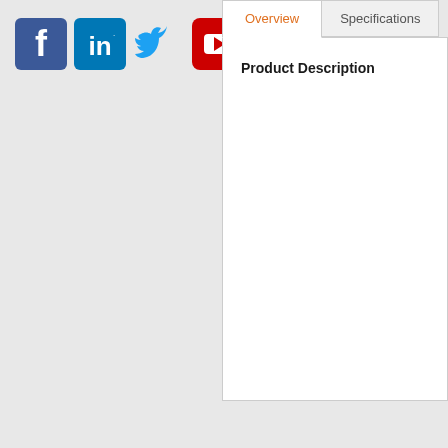[Figure (screenshot): Social media icons: Facebook (blue), LinkedIn (blue), Twitter (light blue bird), YouTube (red)]
Overview
Specifications
Product Description
Bottom Links  Bottom Link 1  |  Bottom Link 2  |  Bottom Link 3
1support@company.com  Contract Price  Attachment  Serial #  Reference  Drop S